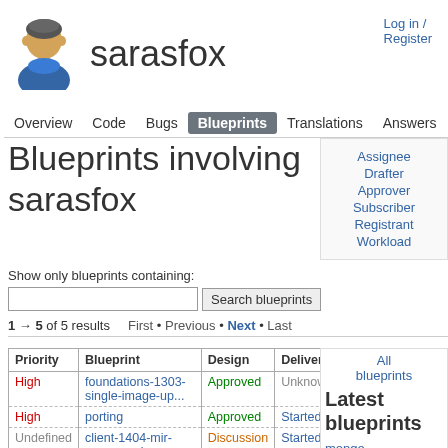Log in / Register
sarasfox
Overview  Code  Bugs  Blueprints  Translations  Answers
Blueprints involving sarasfox
Assignee
Drafter
Approver
Subscriber
Registrant
Workload
Show only blueprints containing:
1 → 5 of 5 results   First • Previous • Next • Last
| Priority | Blueprint | Design | Delivery | Assig |
| --- | --- | --- | --- | --- |
| High | foundations-1303-single-image-up... | Approved | Unknown | Stéph
Grabe |
| High | porting | Approved | Started | saras |
| Undefined | client-1404-mir-converged | Discussion | Started | kevin
gunn |
All blueprints
Latest blueprints
mongo
dmedia
Registered on 2013-